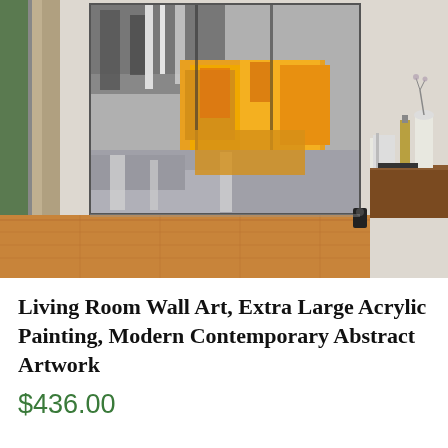[Figure (photo): A large abstract painting displayed on a living room wall. The painting features bold strokes of gray, black, white, and golden yellow/orange colors in a contemporary abstract style. The artwork is mounted on a white wall in a modern living space with hardwood floors, curtains on the left, and a wooden sideboard with decorative items on the right.]
Living Room Wall Art, Extra Large Acrylic Painting, Modern Contemporary Abstract Artwork
$436.00